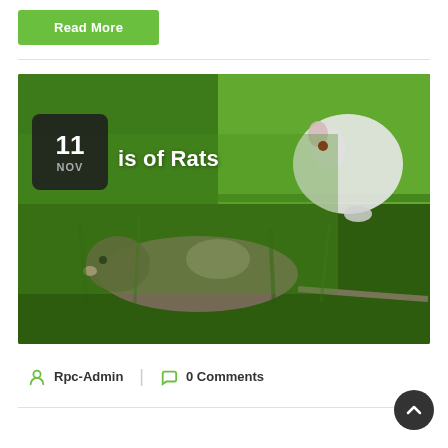Read More
[Figure (photo): Two rats on grass: white rat in upper right area, brown/grey rat in lower area. Date badge showing 11 NOV overlaid on top-left of image. Partial title text 'is of Rats' visible.]
11 NOV
is of Rats
Rpc-Admin   0 Comments